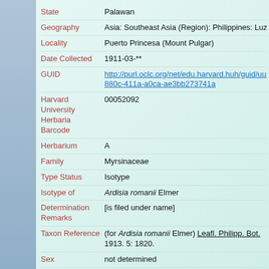| Field | Value |
| --- | --- |
| State | Palawan |
| Geography | Asia: Southeast Asia (Region): Philippines: Luzon: Palawa... |
| Locality | Puerto Princesa (Mount Pulgar) |
| Date Collected | 1911-03-** |
| GUID | http://purl.oclc.org/net/edu.harvard.huh/guid/uuid/f8b...880c-411a-a0ca-ae3bb273741a |
| Harvard University Herbaria Barcode | 00052092 |
| Herbarium | A |
| Family | Myrsinaceae |
| Type Status | Isotype |
| Isotype of | Ardisia romanii Elmer |
| Determination Remarks | [is filed under name] |
| Taxon Reference | (for Ardisia romanii Elmer) Leafl. Philipp. Bot. 1913. 5: 1820. |
| Sex | not determined |
| Phenology | NotDetermined |
| Preparation | Sheet |